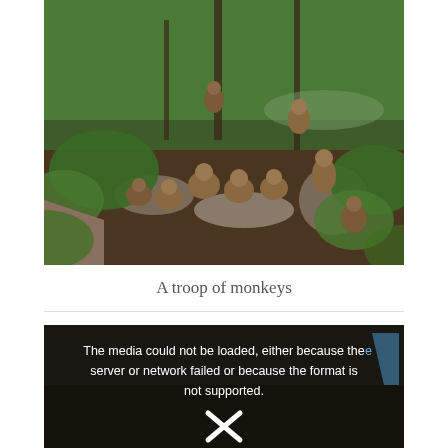[Figure (photo): A troop of monkeys sitting on rocks and ground in a forested area with green vegetation and trees]
A troop of monkeys
[Figure (screenshot): Video player showing error message: 'The media could not be loaded, either because the server or network failed or because the format is not supported.' with an X icon below]